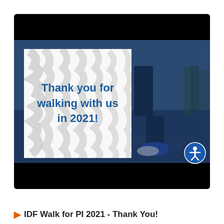[Figure (screenshot): Video thumbnail for IDF Walk for PI 2021 Thank You video. Shows a person's legs walking on a path with a blue-tinted overlay. A zebra-striped card in the upper left reads 'Thank you for walking with us in 2021!' in blue handwritten-style text. Black bars appear at top and bottom of the video frame. An accessibility icon appears in the bottom-right corner.]
IDF Walk for PI 2021 - Thank You!